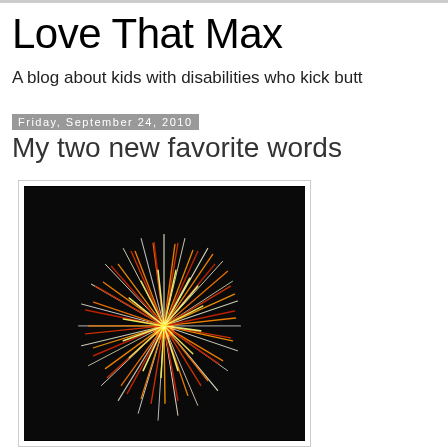Love That Max
A blog about kids with disabilities who kick butt
Friday, September 24, 2010
My two new favorite words
[Figure (photo): Fireworks burst on a dark background — bright yellow, orange, red, and white streaks radiating outward]